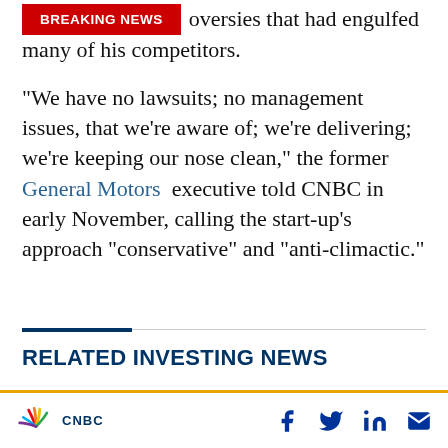oversies that had engulfed many of his competitors.
“We have no lawsuits; no management issues, that we’re aware of; we’re delivering; we’re keeping our nose clean,” the former General Motors executive told CNBC in early November, calling the start-up’s approach “conservative” and “anti-climactic.”
RELATED INVESTING NEWS
CNBC